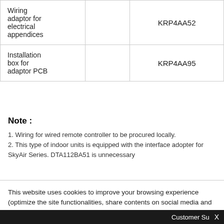|  |  |  |
| --- | --- | --- |
| Wiring adaptor for electrical appendices |  | KRP4AA52 |
| Installation box for adaptor PCB |  | KRP4AA95 |
Note :
1. Wiring for wired remote controller to be procured locally.
2. This type of indoor units is equipped with the interface adopter for SkyAir Series. DTA112BA51 is unnecessary
This website uses cookies to improve your browsing experience (optimize the site functionalities, share contents on social media and collect statistics). By continuing your online browsing on our website, you accept the use of such cookies Click here for more information
Customer Su X